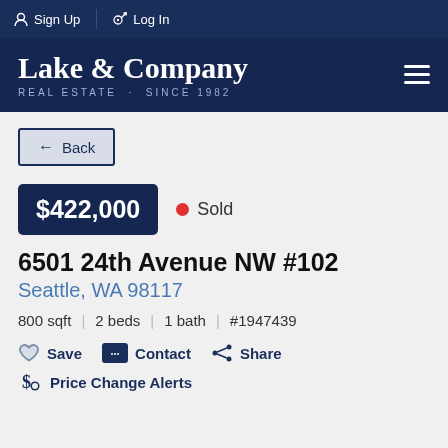Sign Up  Log In
[Figure (logo): Lake & Company Real Estate Since 1982 logo with hamburger menu]
← Back
$422,000  ● Sold
6501 24th Avenue NW #102
Seattle, WA 98117
800 sqft  |  2 beds  |  1 bath  |  #1947439
Save  Contact  Share
Price Change Alerts